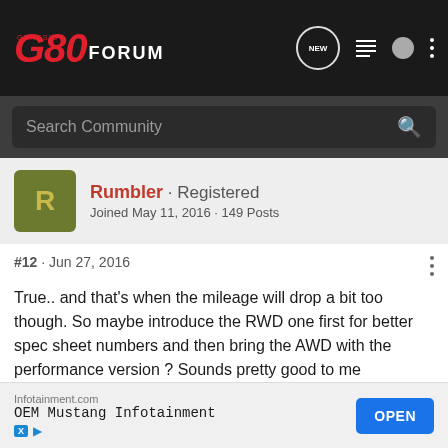G80 FORUM
Search Community
Rumbler · Registered
Joined May 11, 2016 · 149 Posts
#12 · Jun 27, 2016
True.. and that's when the mileage will drop a bit too though. So maybe introduce the RWD one first for better spec sheet numbers and then bring the AWD with the performance version ? Sounds pretty good to me
Infotainment.com
OEM Mustang Infotainment
OPEN